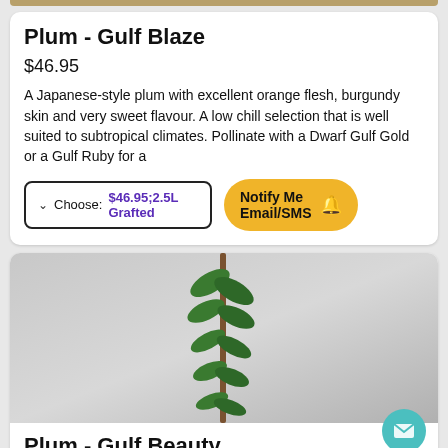Plum - Gulf Blaze
$46.95
A Japanese-style plum with excellent orange flesh, burgundy skin and very sweet flavour. A low chill selection that is well suited to subtropical climates. Pollinate with a Dwarf Gulf Gold or a Gulf Ruby for a
Choose: $46.95;2.5L Grafted
Notify Me Email/SMS
[Figure (photo): Photo of a young plum tree sapling (thin brown stem with green leaves) against a light grey background]
Plum - Gulf Beauty